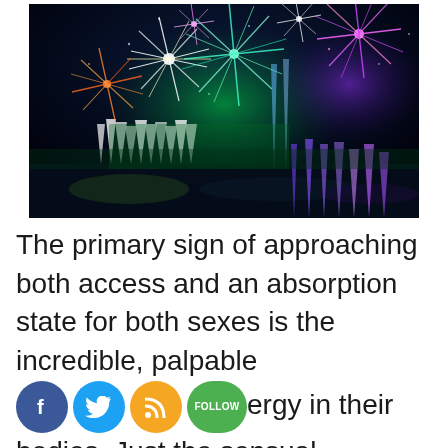[Figure (photo): Colorful fireworks display at night over water, with large bursts of red, green, blue, purple, and white fireworks, and illuminated water fountains below.]
The primary sign of approaching both access and an absorption state for both sexes is the incredible, palpable cos f ergy in their bodies. Just the sensual